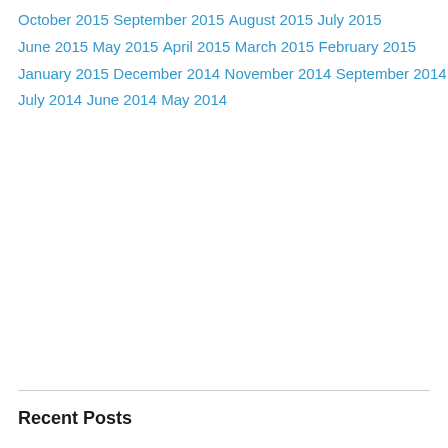October 2015
September 2015
August 2015
July 2015
June 2015
May 2015
April 2015
March 2015
February 2015
January 2015
December 2014
November 2014
September 2014
July 2014
June 2014
May 2014
Recent Posts